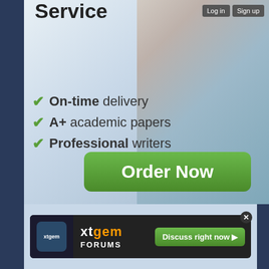Service
On-time delivery
A+ academic papers
Professional writers
Order Now
[Figure (logo): xtgem FORUMS logo with orange and white text on dark background]
Discuss right now ▶